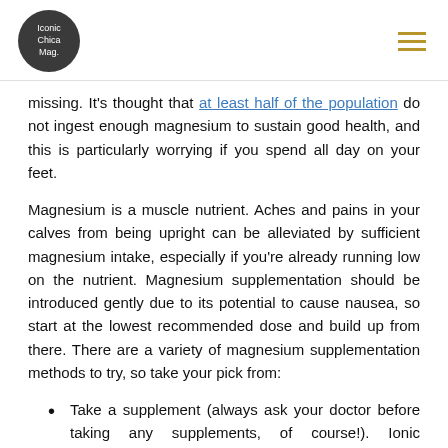Iconic Chica Mag.
missing. It's thought that at least half of the population do not ingest enough magnesium to sustain good health, and this is particularly worrying if you spend all day on your feet.
Magnesium is a muscle nutrient. Aches and pains in your calves from being upright can be alleviated by sufficient magnesium intake, especially if you're already running low on the nutrient. Magnesium supplementation should be introduced gently due to its potential to cause nausea, so start at the lowest recommended dose and build up from there. There are a variety of magnesium supplementation methods to try, so take your pick from:
Take a supplement (always ask your doctor before taking any supplements, of course!). Ionic supplements tend to be better absorbed than tablet form, so if you